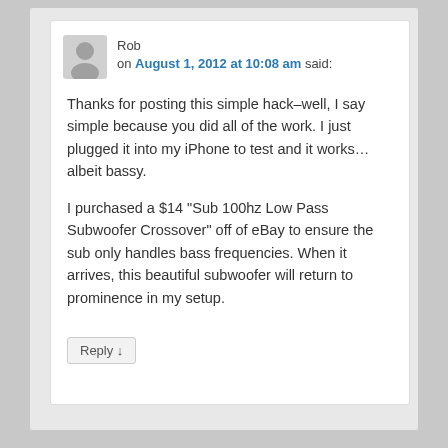Rob on August 1, 2012 at 10:08 am said:
Thanks for posting this simple hack–well, I say simple because you did all of the work. I just plugged it into my iPhone to test and it works…albeit bassy.
I purchased a $14 “Sub 100hz Low Pass Subwoofer Crossover” off of eBay to ensure the sub only handles bass frequencies. When it arrives, this beautiful subwoofer will return to prominence in my setup.
Reply ↓